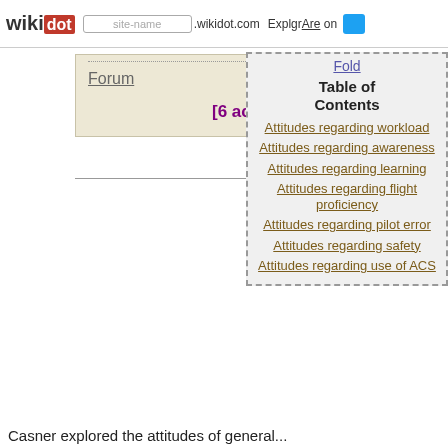wikidot | site-name .wikidot.com | Explore | Share on Twitter
Forum
[6 active forums]
Table of Contents
Attitudes regarding workload
Attitudes regarding awareness
Attitudes regarding learning
Attitudes regarding flight proficiency
Attitudes regarding pilot error
Attitudes regarding safety
Attitudes regarding use of ACS
Casner explored the attitudes of general...